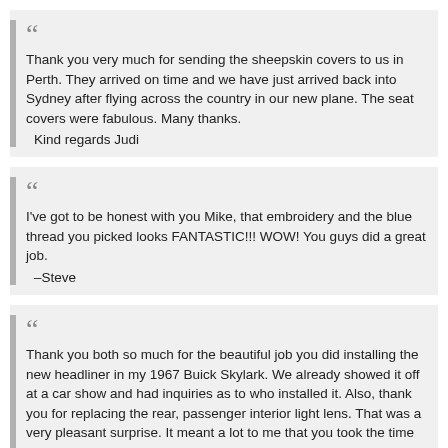Thank you very much for sending the sheepskin covers to us in Perth. They arrived on time and we have just arrived back into Sydney after flying across the country in our new plane. The seat covers were fabulous. Many thanks.
    Kind regards Judi
I've got to be honest with you Mike, that embroidery and the blue thread you picked looks FANTASTIC!!! WOW! You guys did a great job.
    –Steve
Thank you both so much for the beautiful job you did installing the new headliner in my 1967 Buick Skylark. We already showed it off at a car show and had inquiries as to who installed it. Also, thank you for replacing the rear, passenger interior light lens. That was a very pleasant surprise. It meant a lot to me that you took the time and expense to do that and you wouldn't charge me for it.
    –Kathy
Mike is very responsive as we had a couple of suggestions